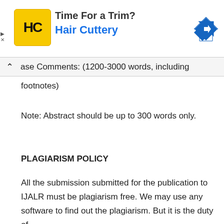[Figure (other): Advertisement banner for Hair Cuttery salon with yellow HC logo, 'Time For a Trim?' heading, 'Hair Cuttery' text in blue, and a blue diamond navigation arrow icon on the right.]
ase Comments: (1200-3000 words, including footnotes)
Note: Abstract should be up to 300 words only.
PLAGIARISM POLICY
All the submission submitted for the publication to IJALR must be plagiarism free. We may use any software to find out the plagiarism. But it is the duty of